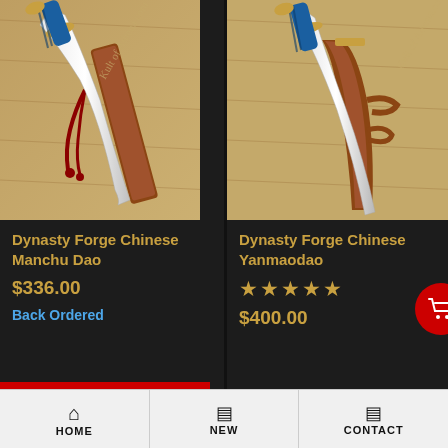[Figure (photo): Dynasty Forge Chinese Manchu Dao sword with blue handle and wooden scabbard, displayed on wooden background with Kult of Athena watermark]
Dynasty Forge Chinese Manchu Dao
$336.00
Back Ordered
[Figure (photo): Dynasty Forge Chinese Yanmaodao sword with blue handle and leather scabbard, displayed on wooden background with Kult of Athena watermark]
Dynasty Forge Chinese Yanmaodao
★★★★★ (4.5 stars rating)
$400.00
HOME | NEW | CONTACT